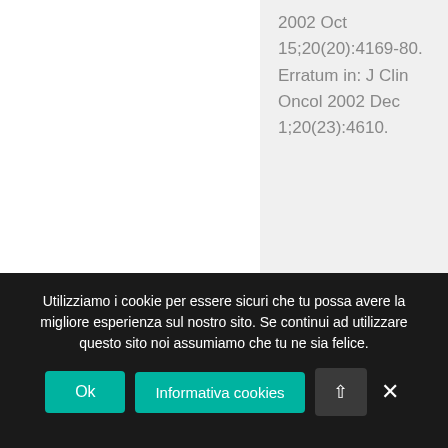2002 Oct 15;20(20):4169-80. Erratum in: J Clin Oncol 2002 Dec 1;20(23):4610.
Utilizziamo i cookie per essere sicuri che tu possa avere la migliore esperienza sul nostro sito. Se continui ad utilizzare questo sito noi assumiamo che tu ne sia felice.